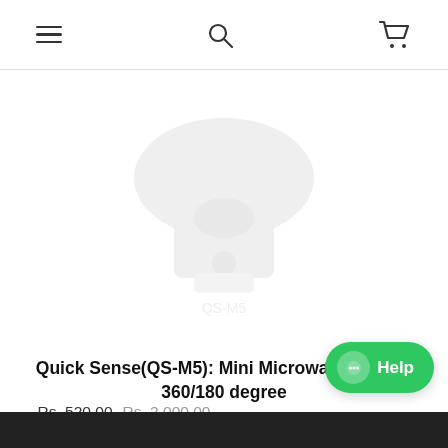Navigation bar with hamburger menu, search, and cart icons
[Figure (photo): Faded/watermarked product image of a mini microwave sensor device]
Quick Sense(QS-M5): Mini Microwave Sensor 360/180 degree
Rs. 520.00  Rs. 2,000.00 (strikethrough)